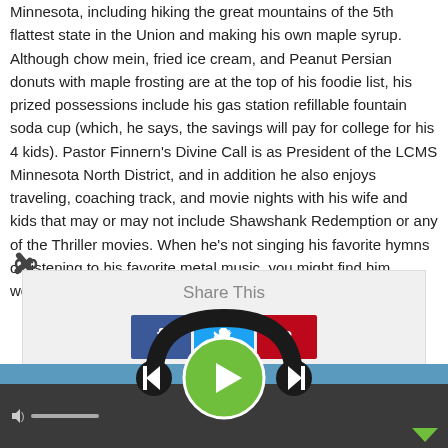Minnesota, including hiking the great mountains of the 5th flattest state in the Union and making his own maple syrup. Although chow mein, fried ice cream, and Peanut Persian donuts with maple frosting are at the top of his foodie list, his prized possessions include his gas station refillable fountain soda cup (which, he says, the savings will pay for college for his 4 kids). Pastor Finnern's Divine Call is as President of the LCMS Minnesota North District, and in addition he also enjoys traveling, coaching track, and movie nights with his wife and kids that may or may not include Shawshank Redemption or any of the Thriller movies. When he's not singing his favorite hymns or listening to his favorite metal music, you might find him working out or taking naps. (Probably naps.)
[Figure (other): Link/chain icon]
[Figure (infographic): Share This section with Facebook, Twitter, and Pinterest buttons, and a media player with headphone graphic, play button, skip controls, and volume bar]